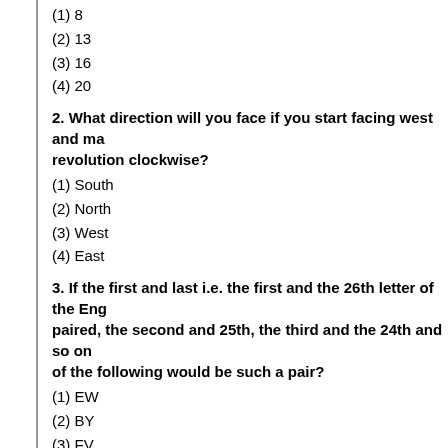(1) 8
(2) 13
(3) 16
(4) 20
2. What direction will you face if you start facing west and make 1 1/4 revolution clockwise?
(1) South
(2) North
(3) West
(4) East
3. If the first and last i.e. the first and the 26th letter of the English alphabet are paired, the second and 25th, the third and the 24th and so on which of the following would be such a pair?
(1) EW
(2) BY
(3) FV
(4) BW
4. How many 3 digit numbers can be formed using digits 4, 5,
(1) 5
(2) 6